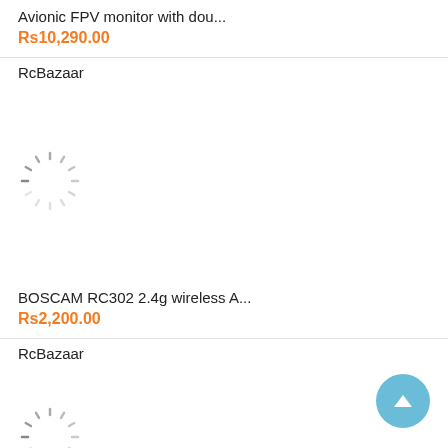Avionic FPV monitor with dou...
Rs10,290.00
RcBazaar
[Figure (other): Loading spinner / placeholder image for product]
BOSCAM RC302 2.4g wireless A...
Rs2,200.00
RcBazaar
[Figure (other): Loading spinner / placeholder image for second product]